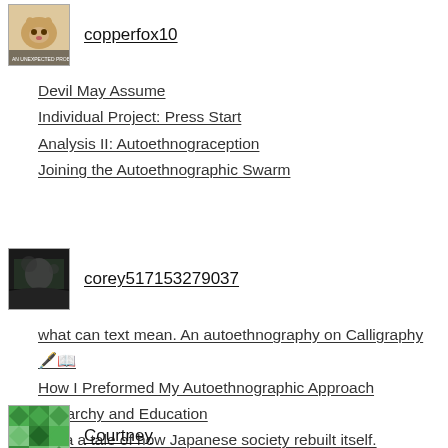[Figure (photo): Avatar image of copperfox10, showing a cat/fox-like animal photo]
copperfox10
Devil May Assume
Individual Project: Press Start
Analysis II: Autoethnograception
Joining the Autoethnographic Swarm
[Figure (photo): Avatar image of corey517153279037, dark outdoor photo]
corey517153279037
what can text mean. An autoethnography on Calligraphy 🖋️📖
How I Preformed My Autoethnographic Approach
Hierarchy and Education
Akira a tale of how Japanese society rebuilt itself.
Personal response to The Host (2006)
[Figure (illustration): Avatar image of Courtney, green pixel/geometric pattern]
Courtney